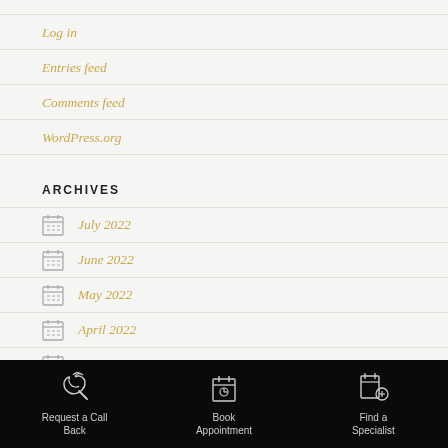Log in
Entries feed
Comments feed
WordPress.org
ARCHIVES
July 2022
June 2022
May 2022
April 2022
March 2022
February 2022
January 2022
Request a Call Back | Book Appointment | Find a Specialist